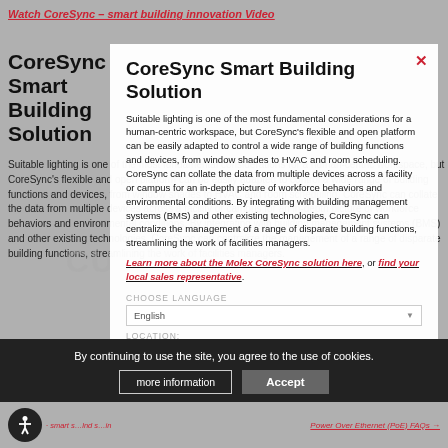Watch CoreSync – smart building innovation Video
CoreSync Smart Building Solution
Suitable lighting is one of the most fundamental considerations for a human-centric workspace, but CoreSync's flexible and open platform can be easily adapted to control a wide range of building functions and devices, from window shades to HVAC and room scheduling. CoreSync can collate the data from multiple devices across a facility or campus for an in-depth picture of workforce behaviors and environmental conditions. By integrating with building management systems (BMS) and other existing technologies, CoreSync can centralize the management of a range of disparate building functions, streamlining the work of facilities managers.
Learn more about the Molex CoreSync solution here, or find your local sales representative.
[Figure (screenshot): Website modal overlay with CUSTOMIZE YOUR EXPERIENCE watermark, globe icon, CHOOSE LANGUAGE dropdown showing English, LOCATION dropdown showing United States of America]
By continuing to use the site, you agree to the use of cookies.
more information
Accept
Power Over Ethernet (PoE) FAQs →